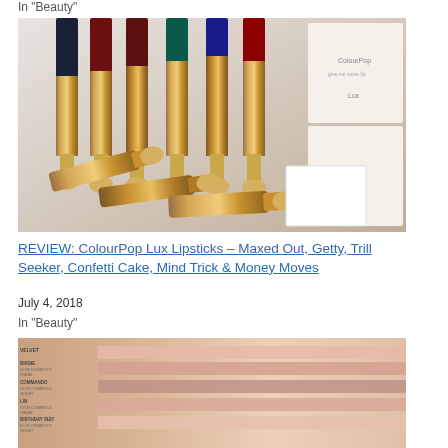In "Beauty"
[Figure (photo): Multiple ColourPop Lux Lipsticks with rose gold casings standing upright, showing various colored bullet tips including dark navy, red, burgundy, teal/green, blue, and red, with product packaging boxes in background]
REVIEW: ColourPop Lux Lipsticks – Maxed Out, Getty, Trill Seeker, Confetti Cake, Mind Trick & Money Moves
July 4, 2018
In "Beauty"
[Figure (photo): Arm swatch swatches of Kylie Cosmetics lip products labeled: VELVET, BIRDIE (Kylie Cosmetics Creme), COMMANDO (Kylie Cosmetics Velvet), LIN (Kylie Cosmetics Creme), BIRTHDAY SUIT (Kylie Cosmetics Velvet), showing various shades from light pink to deeper mauve on skin]